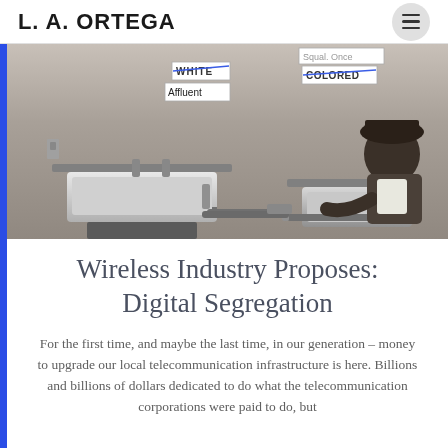L. A. ORTEGA
[Figure (photo): Black and white photograph of segregation-era water fountains. Labels are overlaid: 'WHITE' (with strikethrough) replaced by 'Affluent', and 'COLORED' (with strikethrough) on the other fountain. A person is visible drinking from one of the fountains.]
Wireless Industry Proposes: Digital Segregation
For the first time, and maybe the last time, in our generation – money to upgrade our local telecommunication infrastructure is here. Billions and billions of dollars dedicated to do what the telecommunication corporations were paid to do, but